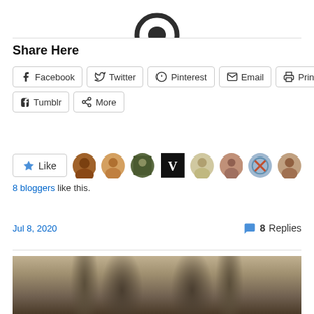[Figure (logo): Circular icon/logo in dark color, partially cropped at top]
Share Here
[Figure (infographic): Social sharing buttons: Facebook, Twitter, Pinterest, Email, Print, Tumblr, More]
[Figure (infographic): Like button with star icon and 8 blogger avatar thumbnails]
8 bloggers like this.
Jul 8, 2020
8 Replies
[Figure (photo): Close-up photo of horse legs and hooves from behind, blurred background]